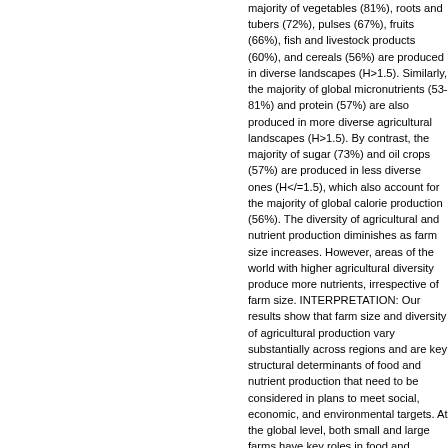majority of vegetables (81%), roots and tubers (72%), pulses (67%), fruits (66%), fish and livestock products (60%), and cereals (56%) are produced in diverse landscapes (H>1.5). Similarly, the majority of global micronutrients (53-81%) and protein (57%) are also produced in more diverse agricultural landscapes (H>1.5). By contrast, the majority of sugar (73%) and oil crops (57%) are produced in less diverse ones (H</=1.5), which also account for the majority of global calorie production (56%). The diversity of agricultural and nutrient production diminishes as farm size increases. However, areas of the world with higher agricultural diversity produce more nutrients, irrespective of farm size. INTERPRETATION: Our results show that farm size and diversity of agricultural production vary substantially across regions and are key structural determinants of food and nutrient production that need to be considered in plans to meet social, economic, and environmental targets. At the global level, both small and large farms have key roles in food and nutrition security. Efforts to maintain production diversity as farm sizes increase seem to be necessary to maintain the production of diverse nutrients and viable, multifunctional, sustainable landscapes. FUNDING: Commonwealth Scientific and Industrial Research Organisation, Bill & Melinda Gates Foundation, CGIAR Research Programs on Climate Change, Agriculture and Food Security and on Agriculture for Nutrition and Health funded by the CGIAR Fund Council, Daniel and Nina Carasso Foundation, European Union, International Fund for Agricultural Development, Australian Research Council, National Science Foundation, Gordon and Betty Moore Foundation, and Joint Programming Initiative on Agriculture, Food Security and Climate Change. Robert...